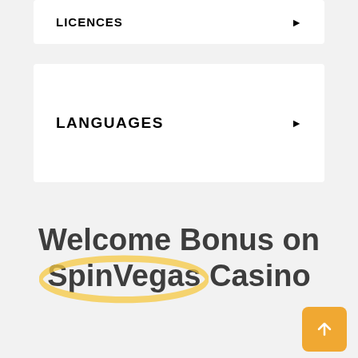LICENCES
LANGUAGES
Welcome Bonus on SpinVegas Casino